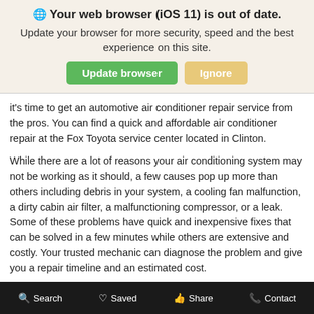[Figure (screenshot): Browser update notification banner with globe icon, bold title 'Your web browser (iOS 11) is out of date.', subtitle text, and two buttons: green 'Update browser' and tan 'Ignore']
it's time to get an automotive air conditioner repair service from the pros. You can find a quick and affordable air conditioner repair at the Fox Toyota service center located in Clinton.
While there are a lot of reasons your air conditioning system may not be working as it should, a few causes pop up more than others including debris in your system, a cooling fan malfunction, a dirty cabin air filter, a malfunctioning compressor, or a leak. Some of these problems have quick and inexpensive fixes that can be solved in a few minutes while others are extensive and costly. Your trusted mechanic can diagnose the problem and give you a repair timeline and an estimated cost.
Engine Repair
Search   Saved   Share   Contact